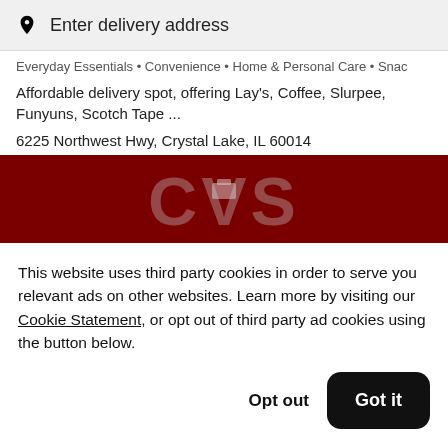Enter delivery address
Everyday Essentials • Convenience • Home & Personal Care • Snac
Affordable delivery spot, offering Lay's, Coffee, Slurpee, Funyuns, Scotch Tape ...
6225 Northwest Hwy, Crystal Lake, IL 60014
[Figure (logo): CVS store banner image with dark red background showing 'CVS' text logo in large silver letters]
This website uses third party cookies in order to serve you relevant ads on other websites. Learn more by visiting our Cookie Statement, or opt out of third party ad cookies using the button below.
Opt out
Got it